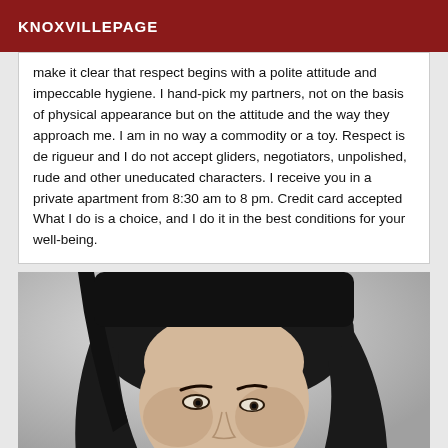KNOXVILLEPAGE
make it clear that respect begins with a polite attitude and impeccable hygiene. I hand-pick my partners, not on the basis of physical appearance but on the attitude and the way they approach me. I am in no way a commodity or a toy. Respect is de rigueur and I do not accept gliders, negotiators, unpolished, rude and other uneducated characters. I receive you in a private apartment from 8:30 am to 8 pm. Credit card accepted What I do is a choice, and I do it in the best conditions for your well-being.
[Figure (photo): Black and white close-up photo of a woman with dark hair looking slightly downward]